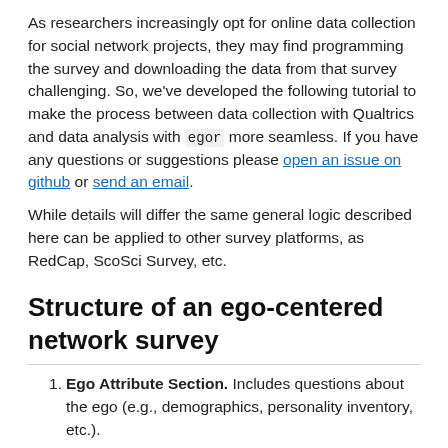As researchers increasingly opt for online data collection for social network projects, they may find programming the survey and downloading the data from that survey challenging. So, we've developed the following tutorial to make the process between data collection with Qualtrics and data analysis with egor more seamless. If you have any questions or suggestions please open an issue on github or send an email.
While details will differ the same general logic described here can be applied to other survey platforms, as RedCap, ScoSci Survey, etc.
Structure of an ego-centered network survey
Ego Attribute Section. Includes questions about the ego (e.g., demographics, personality inventory, etc.).
Name Generator: Alter List. Participants will list their alters in this section. Alter names are then piped into the alter attribute and the alter-alter tie sections. The participants can be free in their choice of how many alters they want to name or they can be forced to fill out a specific number of alter names.